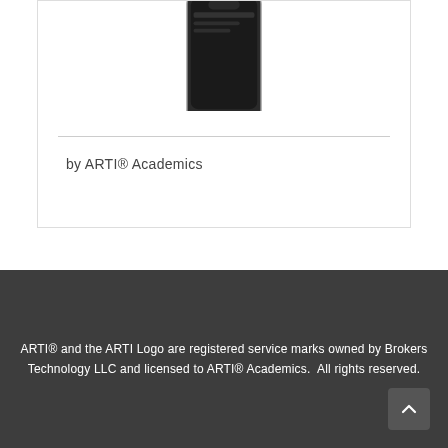[Figure (screenshot): Partial view of a smartphone (phone mockup) showing the top portion of a mobile device with a dark screen area, clipped at top]
by ARTI® Academics
ARTI® and the ARTI Logo are registered service marks owned by Brokers Technology LLC and licensed to ARTI® Academics.  All rights reserved.